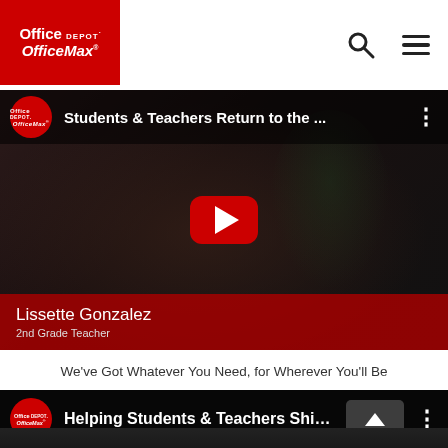[Figure (screenshot): Office Depot OfficeMax website navigation bar with logo, search icon, and hamburger menu]
[Figure (screenshot): YouTube video embed: 'Students & Teachers Return to the ...' featuring Lissette Gonzalez, 2nd Grade Teacher, with red play button]
We've Got Whatever You Need, for Wherever You'll Be
[Figure (screenshot): YouTube video embed: 'Helping Students & Teachers Shine ...' partially visible at bottom of page]